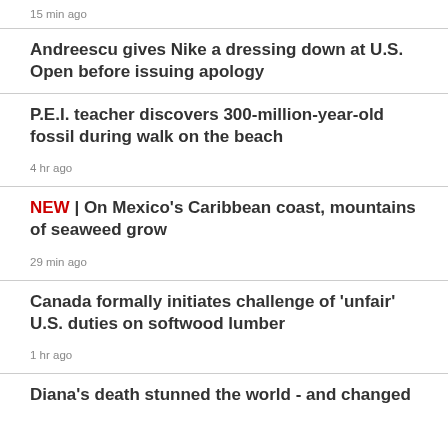15 min ago
Andreescu gives Nike a dressing down at U.S. Open before issuing apology
P.E.I. teacher discovers 300-million-year-old fossil during walk on the beach
4 hr ago
NEW | On Mexico's Caribbean coast, mountains of seaweed grow
29 min ago
Canada formally initiates challenge of 'unfair' U.S. duties on softwood lumber
1 hr ago
Diana's death stunned the world - and changed